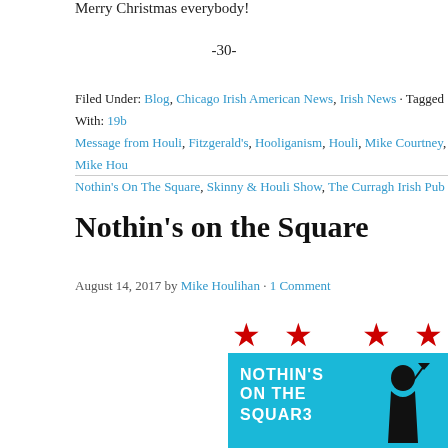Merry Christmas everybody!
-30-
Filed Under: Blog, Chicago Irish American News, Irish News · Tagged With: 19b… Message from Houli, Fitzgerald's, Hooliganism, Houli, Mike Courtney, Mike Hou… Nothin's On The Square, Skinny & Houli Show, The Curragh Irish Pub
Nothin's on the Square
August 14, 2017 by Mike Houlihan · 1 Comment
[Figure (illustration): Nothin's On The Square logo with Chicago flag red stars on white background above a cyan blue block with white bold text reading NOTHIN'S ON THE SQUARE and a silhouette of a figure.]